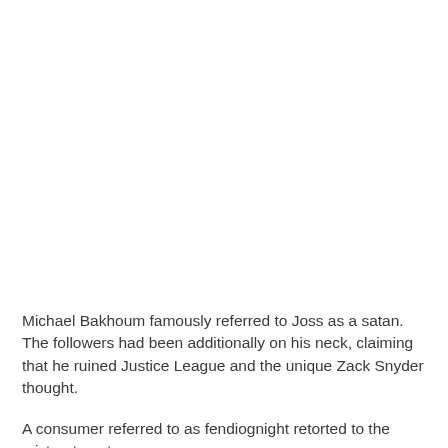Michael Bakhoum famously referred to Joss as a satan. The followers had been additionally on his neck, claiming that he ruined Justice League and the unique Zack Snyder thought.
A consumer referred to as fendiognight retorted to the mistreatment